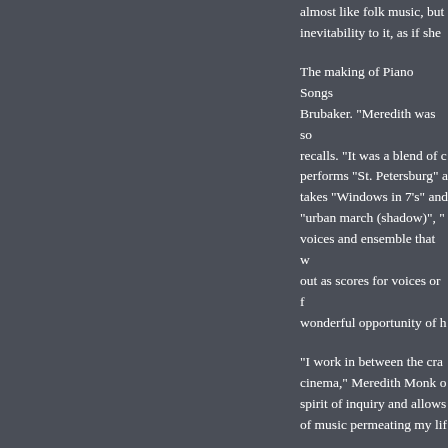kind it made you fe... almost like folk music, but... inevitability to it, as if she ...
The making of Piano Songs... Brubaker. "Meredith was so... recalls. "It was a blend of c... performs "St. Petersburg" a... takes "Windows in 7's" and... "urban march (shadow)", "... voices and ensemble that w... out as scores for voices or f... wonderful opportunity of h...
"I work in between the cra... cinema," Meredith Monk o... spirit of inquiry and allows... of music permeating my lif...
Meredith Monk invented so... now as it was when she ma... longstanding Vocal Ensemb... Stars, among others. Her re... DJ Spooky.
Monk holds Carnegie Hall'... performances of her piano,... Ensemble. The residency e... when Ursula Oppens a... B...